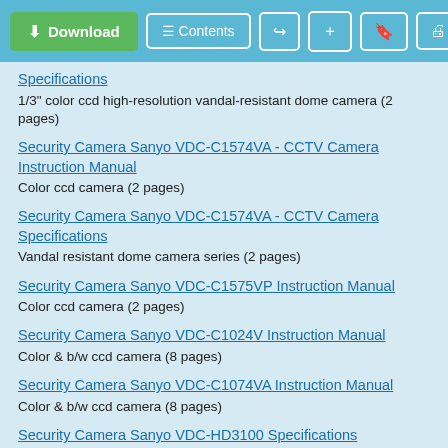Download | Contents | [share] [+] [bookmark] [print]
Specifications
1/3" color ccd high-resolution vandal-resistant dome camera (2 pages)
Security Camera Sanyo VDC-C1574VA - CCTV Camera Instruction Manual
Color ccd camera (2 pages)
Security Camera Sanyo VDC-C1574VA - CCTV Camera Specifications
Vandal resistant dome camera series (2 pages)
Security Camera Sanyo VDC-C1575VP Instruction Manual
Color ccd camera (2 pages)
Security Camera Sanyo VDC-C1024V Instruction Manual
Color & b/w ccd camera (8 pages)
Security Camera Sanyo VDC-C1074VA Instruction Manual
Color & b/w ccd camera (8 pages)
Security Camera Sanyo VDC-HD3100 Specifications
1080p 4 megapixel color vandal dome camera (7 pages)
Security Camera Sanyo VDC-HD3300 Specifications
1080p 4 megapixel day-night vandal dome camera (9 pages)